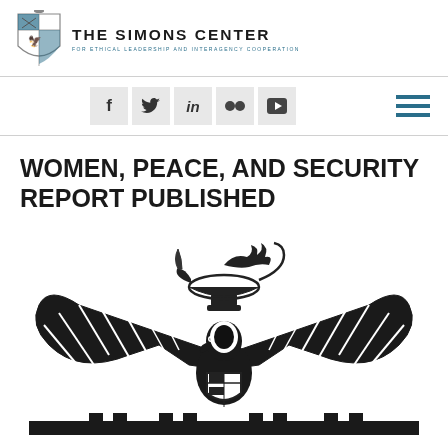[Figure (logo): The Simons Center for Ethical Leadership and Interagency Cooperation logo with shield emblem and organization name]
[Figure (infographic): Social media icon buttons: Facebook (f), Twitter (bird), LinkedIn (in), Flickr (squares), YouTube (play button), and hamburger menu icon]
WOMEN, PEACE, AND SECURITY REPORT PUBLISHED
[Figure (illustration): Large black and white illustration of an eagle with spread wings and an oil lamp above, appearing to be a military or governmental seal/emblem, partially cropped at bottom]